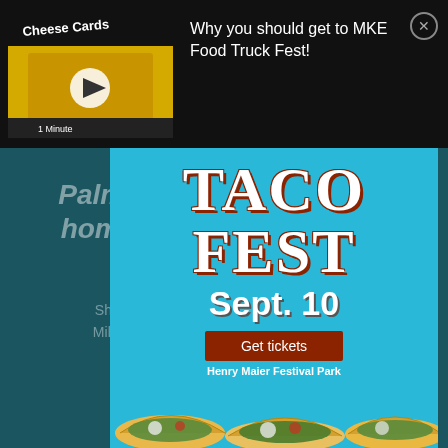[Figure (screenshot): Video thumbnail showing a yellow food truck with cheese cards branding, with a white play button overlay]
Why you should get to MKE Food Truck Fest!
Palm Beach Poet returns home to headline events
Shandle Chapman wrote her first poem in Milwaukee at age 11. Now a musician and mother, she will look at two events this month.
[Figure (infographic): Taco Fest advertisement overlay on cyan/blue background. Large white text reads TACO FEST with red shadow outline, followed by Sept. 10, a brown Get tickets button, Henry Maier Festival Park text, and taco food photos at bottom.]